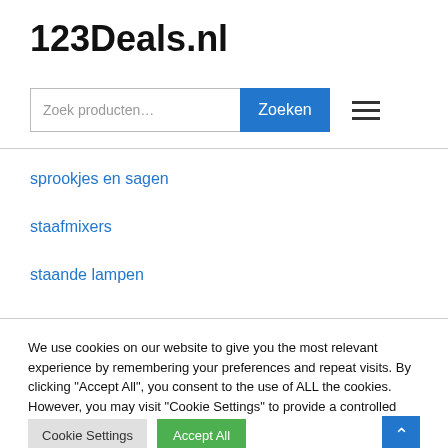123Deals.nl
[Figure (screenshot): Search bar with placeholder 'Zoek producten...' and blue 'Zoeken' button, plus hamburger menu icon]
sprookjes en sagen
staafmixers
staande lampen
We use cookies on our website to give you the most relevant experience by remembering your preferences and repeat visits. By clicking "Accept All", you consent to the use of ALL the cookies. However, you may visit "Cookie Settings" to provide a controlled consent.
Cookie Settings | Accept All